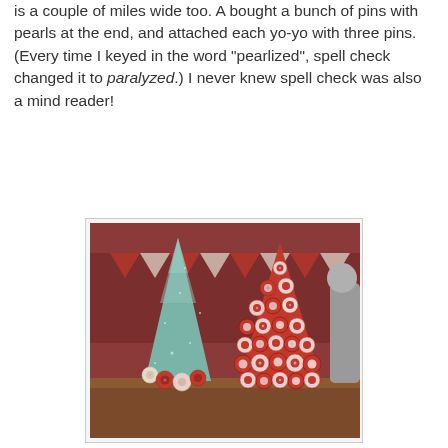is a couple of miles wide too.  A bought a bunch of pins with pearls at the end, and attached each yo-yo with three pins. (Every time I keyed in the word "pearlized", spell check changed it to paralyzed.)  I never knew spell check was also a mind reader!
[Figure (photo): Two decorative cone-shaped Christmas trees on a table. The left tree is a plain glittery teal/silver cone. The right tree is covered in red and white fabric yo-yo circles with pearl-head pins. A red and white quilted banner is visible in the background.]